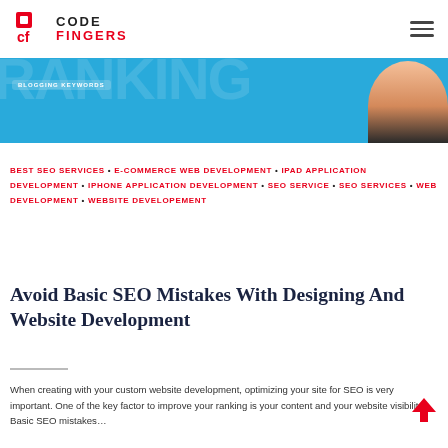CODEFINGERS logo and navigation
[Figure (photo): Hero banner with blue background, faded large text watermark, a badge reading 'BLOGGING KEYWORDS', and a person silhouette on the right]
BEST SEO SERVICES • E-COMMERCE WEB DEVELOPMENT • IPAD APPLICATION DEVELOPMENT • IPHONE APPLICATION DEVELOPMENT • SEO SERVICE • SEO SERVICES • WEB DEVELOPMENT • WEBSITE DEVELOPEMENT
Avoid Basic SEO Mistakes With Designing And Website Development
When creating with your custom website development, optimizing your site for SEO is very important. One of the key factor to improve your ranking is your content and your website visibility. Basic SEO mistakes…